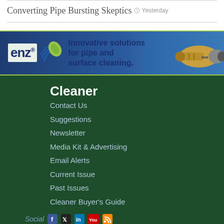Converting Pipe Bursting Skeptics
Yesterday
[Figure (infographic): ENZ brand advertisement banner with logo and tagline 'Innovative solutions for pipe and surface cleaning.' with product image of pipe cleaning nozzle on right side.]
Cleaner
Contact Us
Suggestions
Newsletter
Media Kit & Advertising
Email Alerts
Current Issue
Past Issues
Cleaner Buyer's Guide
Social